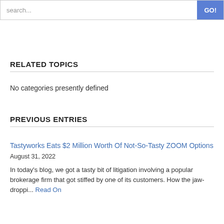search...  GO!
RELATED TOPICS
No categories presently defined
PREVIOUS ENTRIES
Tastyworks Eats $2 Million Worth Of Not-So-Tasty ZOOM Options
August 31, 2022
In today's blog, we got a tasty bit of litigation involving a popular brokerage firm that got stiffed by one of its customers. How the jaw-droppi... Read On